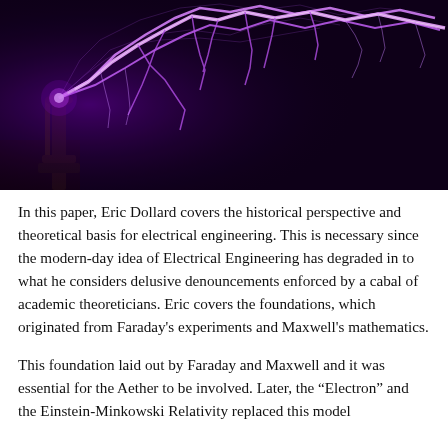[Figure (photo): A Tesla coil or electrical discharge device producing dramatic purple/violet lightning bolts against a dark background. The lightning arcs spread outward to the right from a central apparatus.]
In this paper, Eric Dollard covers the historical perspective and theoretical basis for electrical engineering. This is necessary since the modern-day idea of Electrical Engineering has degraded in to what he considers delusive denouncements enforced by a cabal of academic theoreticians. Eric covers the foundations, which originated from Faraday's experiments and Maxwell's mathematics.
This foundation laid out by Faraday and Maxwell and it was essential for the Aether to be involved. Later, the "Electron" and the Einstein-Minkowski Relativity replaced this model